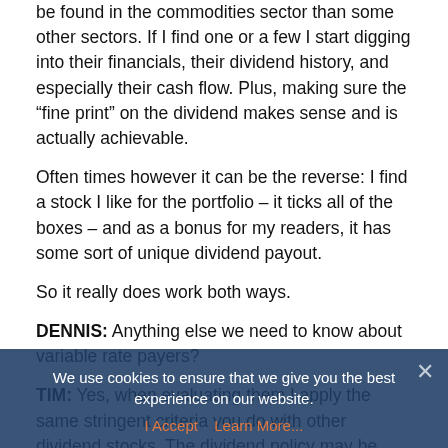be found in the commodities sector than some other sectors. If I find one or a few I start digging into their financials, their dividend history, and especially their cash flow. Plus, making sure the “fine print” on the dividend makes sense and is actually achievable.
Often times however it can be the reverse: I find a stock I like for the portfolio – it ticks all of the boxes – and as a bonus for my readers, it has some sort of unique dividend payout.
So it really does work both ways.
DENNIS: Anything else we need to know about variable rate payers?
TIM: Yes, when evaluating them I apply the same stringent criteria you do with other dividend stocks. The dividend policy may be different but the same standards I apply to other dividend stocks under consideration – dividend history, cash flow, etc. – need to apply variable rate payers.
DENNIS: Thank you for your time.
We use cookies to ensure that we give you the best experience on our website.
I Accept   Learn More...